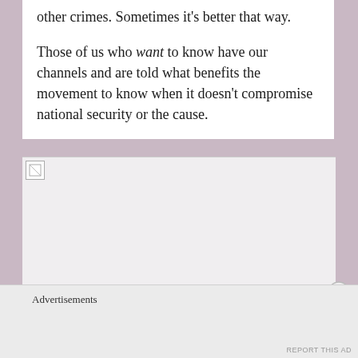other crimes. Sometimes it's better that way.
Those of us who want to know have our channels and are told what benefits the movement to know when it doesn't compromise national security or the cause.
[Figure (photo): Broken/missing image placeholder in a webpage screenshot]
Advertisements